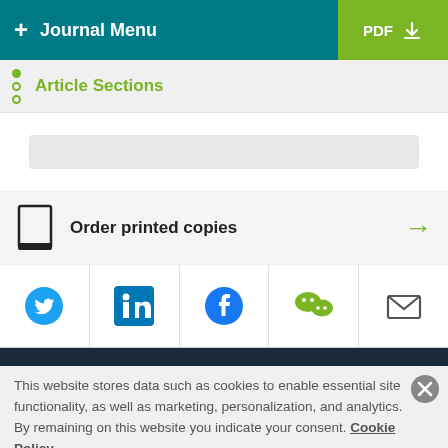+ Journal Menu | PDF
Article Sections
Order printed copies
[Figure (screenshot): Social media sharing icons: Twitter, LinkedIn, Facebook, WeChat, Email]
This website stores data such as cookies to enable essential site functionality, as well as marketing, personalization, and analytics. By remaining on this website you indicate your consent. Cookie Policy